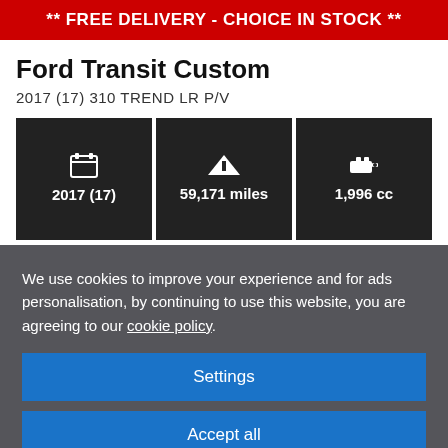** FREE DELIVERY - CHOICE IN STOCK **
Ford Transit Custom
2017 (17) 310 TREND LR P/V
[Figure (infographic): Three dark info boxes showing vehicle specs: 2017 (17) year with calendar icon, 59,171 miles with road icon, 1,996 cc with engine icon]
We use cookies to improve your experience and for ads personalisation, by continuing to use this website, you are agreeing to our cookie policy.
Settings
Accept all